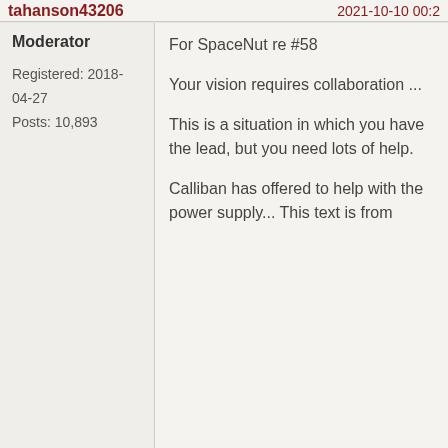tahanson43206 | 2021-10-10 00:2
Moderator
Registered: 2018-04-27
Posts: 10,893
For SpaceNut re #58

Your vision requires collaboration ...

This is a situation in which you have the lead, but you need lots of help.

Calliban has offered to help with the power supply... This text is from